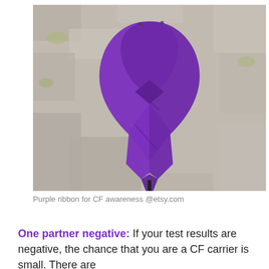[Figure (photo): A purple awareness ribbon (CF cystic fibrosis awareness ribbon) mounted on a stake against a rough stone/bark textured surface.]
Purple ribbon for CF awareness @etsy.com
One partner negative: If your test results are negative, the chance that you are a CF carrier is small. There are some CF mutations that are not tested, so there